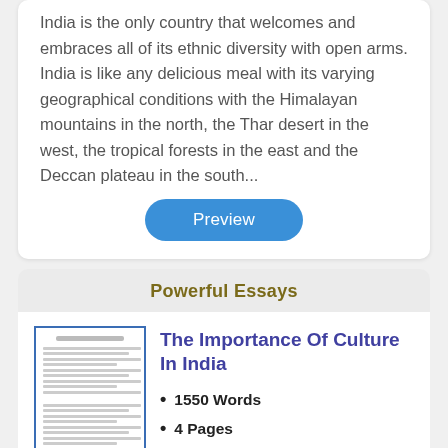India is the only country that welcomes and embraces all of its ethnic diversity with open arms. India is like any delicious meal with its varying geographical conditions with the Himalayan mountains in the north, the Thar desert in the west, the tropical forests in the east and the Deccan plateau in the south...
[Figure (other): A blue rounded button labeled 'Preview']
Powerful Essays
[Figure (screenshot): Thumbnail image of an essay document page with text lines]
The Importance Of Culture In India
1550 Words
4 Pages